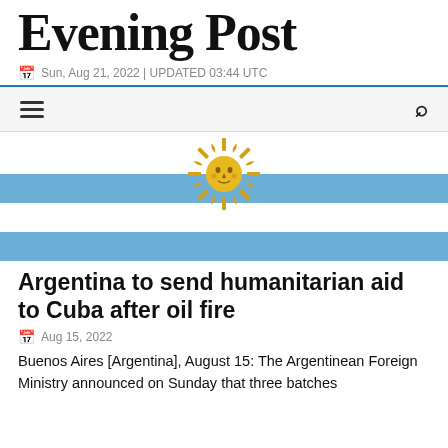Evening Post
Sun, Aug 21, 2022 | UPDATED 03:44 UTC
[Figure (illustration): Argentina flag with Sun of May emblem — light blue horizontal stripes top and bottom, white stripe in middle, golden sun face in center]
Argentina to send humanitarian aid to Cuba after oil fire
Aug 15, 2022
Buenos Aires [Argentina], August 15: The Argentinean Foreign Ministry announced on Sunday that three batches